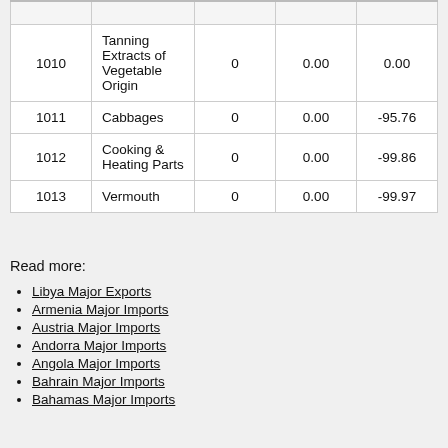|  |  |  |  |  |
| --- | --- | --- | --- | --- |
| 1010 | Tanning Extracts of Vegetable Origin | 0 | 0.00 | 0.00 |
| 1011 | Cabbages | 0 | 0.00 | -95.76 |
| 1012 | Cooking & Heating Parts | 0 | 0.00 | -99.86 |
| 1013 | Vermouth | 0 | 0.00 | -99.97 |
Read more:
Libya Major Exports
Armenia Major Imports
Austria Major Imports
Andorra Major Imports
Angola Major Imports
Bahrain Major Imports
Bahamas Major Imports